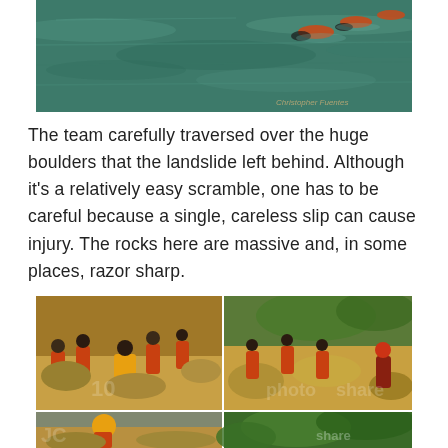[Figure (photo): Swimmers in teal/green water with orange life vests, aerial view of people swimming through a river gorge]
The team carefully traversed over the huge boulders that the landslide left behind. Although it's a relatively easy scramble, one has to be careful because a single, careless slip can cause injury. The rocks here are massive and, in some places, razor sharp.
[Figure (photo): Two side-by-side photos of a group of people wearing orange safety vests and helmets scrambling over large boulders and rocky terrain left by a landslide]
[Figure (photo): Bottom strip showing two partial photos: left shows a person with orange helmet on rocks, right shows green jungle/forest foliage]